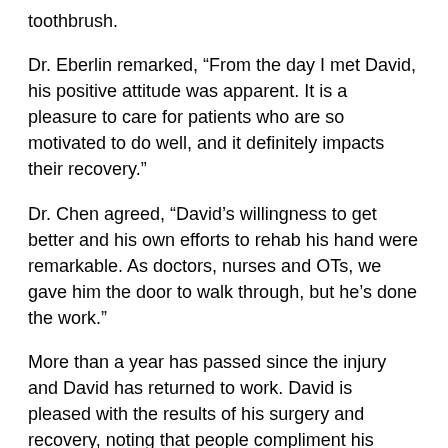toothbrush.
Dr. Eberlin remarked, “From the day I met David, his positive attitude was apparent. It is a pleasure to care for patients who are so motivated to do well, and it definitely impacts their recovery.”
Dr. Chen agreed, “David’s willingness to get better and his own efforts to rehab his hand were remarkable. As doctors, nurses and OTs, we gave him the door to walk through, but he’s done the work.”
More than a year has passed since the injury and David has returned to work. David is pleased with the results of his surgery and recovery, noting that people compliment his recovery and the quality of the graft. “I don’t quite have a full range of motion back yet, but it’s improved a lot. I had great results.”